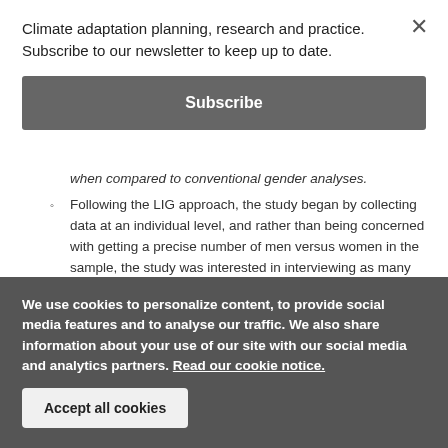Climate adaptation planning, research and practice.
Subscribe to our newsletter to keep up to date.
Subscribe
when compared to conventional gender analyses.
Following the LIG approach, the study began by collecting data at an individual level, and rather than being concerned with getting a precise number of men versus women in the sample, the study was interested in interviewing as many people as possible from
We use cookies to personalize content, to provide social media features and to analyse our traffic. We also share information about your use of our site with our social media and analytics partners. Read our cookie notice.
Accept all cookies